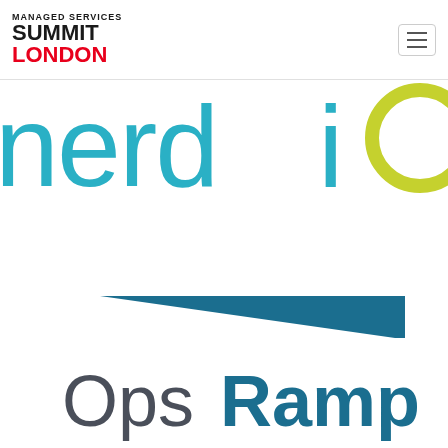MANAGED SERVICES SUMMIT LONDON
[Figure (logo): nerd.io logo in teal and lime green colors, large text filling the upper portion of the page]
[Figure (logo): OpsRamp logo with dark teal triangle/ramp icon above the text, company name in dark slate and teal colors]